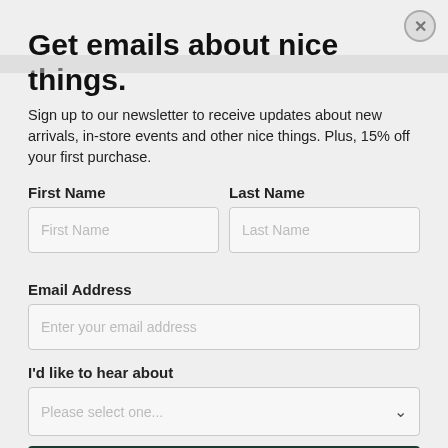Get emails about nice things.
Sign up to our newsletter to receive updates about new arrivals, in-store events and other nice things. Plus, 15% off your first purchase.
First Name
Last Name
Email Address
I'd like to hear about
Subscribe